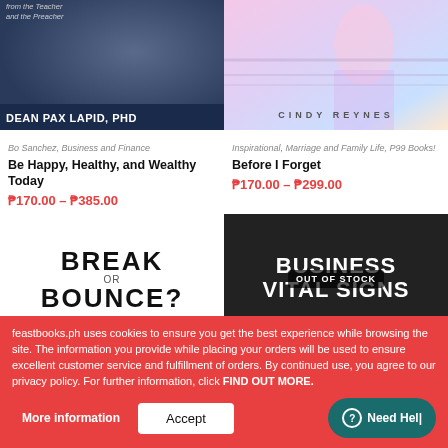[Figure (photo): Book cover for 'Be Happy, Healthy, and Wealthy Today' by Dean Pax Lapid, PhD — dark navy background with photo of two men in suits and text overlay showing author name]
[Figure (photo): Book cover for 'Before I Forget' by Cindy Reynes — colorful watercolor-style artwork with author name 'Cindy Reynes' in spaced letters]
Bo Sanchez, Business and Finance
Be Happy, Healthy, and Wealthy Today
₱170.00 – ₱385.00
Inspirational, Marriage and Family Life, P99 Books!
Before I Forget
₱170.00 – ₱299.00
[Figure (photo): Book cover showing 'BREAK or BOUNCE?' in large bold black text on white background]
[Figure (photo): Book cover showing 'BUSINESS VITAL SIGNS' in large bold white text on dark background with OUT OF STOCK overlay badge]
feastbooks.ph uses cookies to ensure you get the best experience while browsing the site. The information you provide while placing your orders will be used to ensure excellent customer service and fulfillment of orders. By continued use, you agree to our privacy policy. For further information, click FIND OUT MORE.
More information
Accept
Need Help